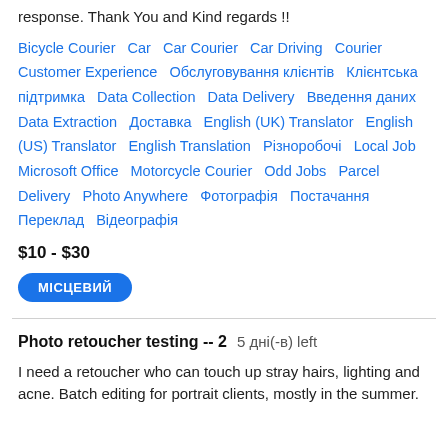response. Thank You and Kind regards !!
Bicycle Courier   Car   Car Courier   Car Driving   Courier   Customer Experience   Обслуговування клієнтів   Клієнтська підтримка   Data Collection   Data Delivery   Введення даних   Data Extraction   Доставка   English (UK) Translator   English (US) Translator   English Translation   Різноробочі   Local Job   Microsoft Office   Motorcycle Courier   Odd Jobs   Parcel Delivery   Photo Anywhere   Фотографія   Постачання   Переклад   Відеографія
$10 - $30
МІСЦЕВИЙ
Photo retoucher testing -- 2   5 дні(-в) left
I need a retoucher who can touch up stray hairs, lighting and acne. Batch editing for portrait clients, mostly in the summer.